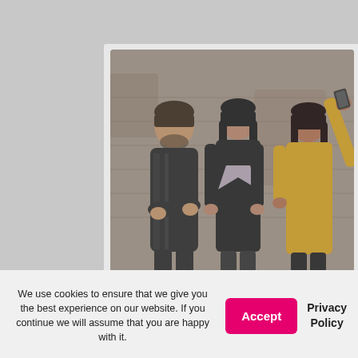[Figure (photo): Three young people standing and talking, one in a leather jacket, one in a dark top with chevron, one in a yellow top raising their hand. Urban background with graffiti fence.]
Blog
How to Produce Engaging Social Media for Gen Z
We use cookies to ensure that we give you the best experience on our website. If you continue we will assume that you are happy with it.
Accept
Privacy Policy